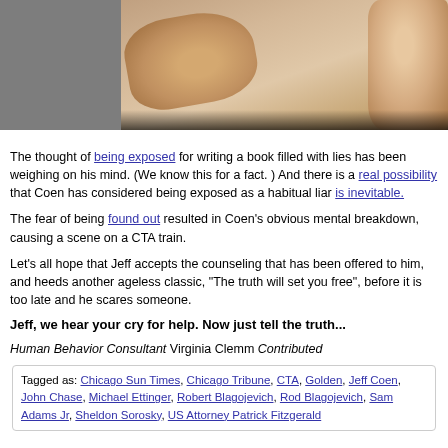[Figure (photo): Close-up photo of a man resting his chin on his fist, face partially visible, grey/dark background on left side]
The thought of being exposed for writing a book filled with lies has been weighing on his mind. (We know this for a fact. ) And there is a real possibility that Coen has considered being exposed as a habitual liar is inevitable.
The fear of being found out resulted in Coen's obvious mental breakdown, causing a scene on a CTA train.
Let's all hope that Jeff accepts the counseling that has been offered to him, and heeds another ageless classic, "The truth will set you free", before it is too late and he scares someone.
Jeff, we hear your cry for help. Now just tell the truth...
Human Behavior Consultant Virginia Clemm Contributed
Tagged as: Chicago Sun Times, Chicago Tribune, CTA, Golden, Jeff Coen, John Chase, Michael Ettinger, Robert Blagojevich, Rod Blagojevich, Sam Adams Jr, Sheldon Sorosky, US Attorney Patrick Fitzgerald